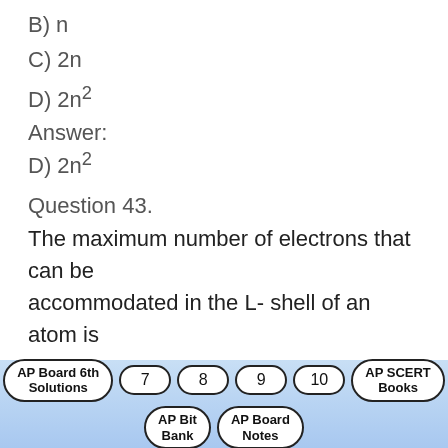B) n
C) 2n
D) 2n²
Answer:
D) 2n²
Question 43.
The maximum number of electrons that can be accommodated in the L- shell of an atom is
………………….
A) 2
B) 8
C) 18
D) 32
AP Board 6th Solutions | 7 | 8 | 9 | 10 | AP SCERT Books | AP Bit Bank | AP Board Notes